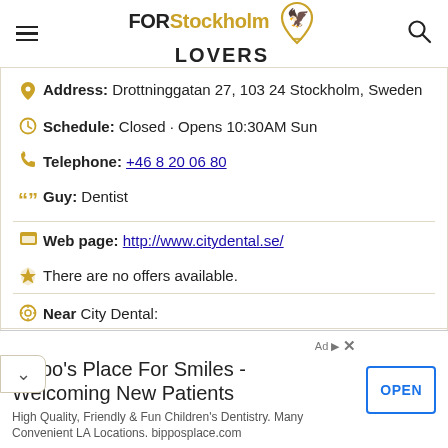FOR Stockholm LOVERS
Address: Drottninggatan 27, 103 24 Stockholm, Sweden
Schedule: Closed · Opens 10:30AM Sun
Telephone: +46 8 20 06 80
Guy: Dentist
Web page: http://www.citydental.se/
There are no offers available.
Near City Dental:
• 4 meters away vegan cosmetic stores: Lush
Bippo's Place For Smiles - Welcoming New Patients. High Quality, Friendly & Fun Children's Dentistry. Many Convenient LA Locations. bipposplace.com